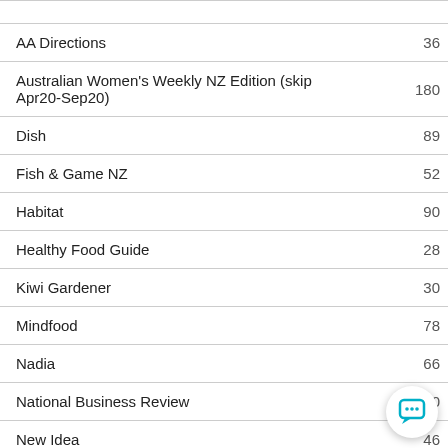|  |  |
| --- | --- |
| AA Directions | 36 |
| Australian Women's Weekly NZ Edition (skip Apr20-Sep20) | 180 |
| Dish | 89 |
| Fish & Game NZ | 52 |
| Habitat | 90 |
| Healthy Food Guide | 28 |
| Kiwi Gardener | 30 |
| Mindfood | 78 |
| Nadia | 66 |
| National Business Review | 40 |
| New Idea | 46 |
| New Zealand Listener (skip Apr20-Sep20) | 18 |
| North & South (skip Apr20-Dec20) | 100 |